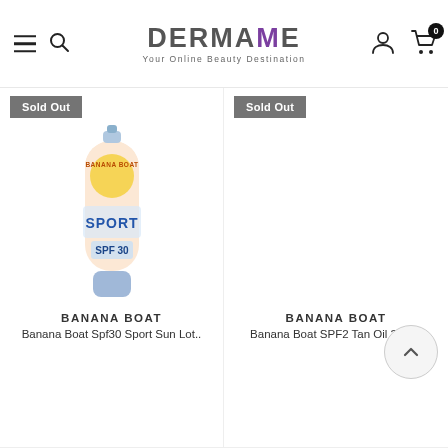DERMAME - Your Online Beauty Destination
[Figure (screenshot): Product card: Banana Boat SPF30 Sport sun lotion tube, marked Sold Out]
BANANA BOAT
Banana Boat Spf30 Sport Sun Lot..
[Figure (screenshot): Product card: Banana Boat SPF2 Tan Oil 236ml, marked Sold Out, no visible product image]
BANANA BOAT
Banana Boat SPF2 Tan Oil 236ml